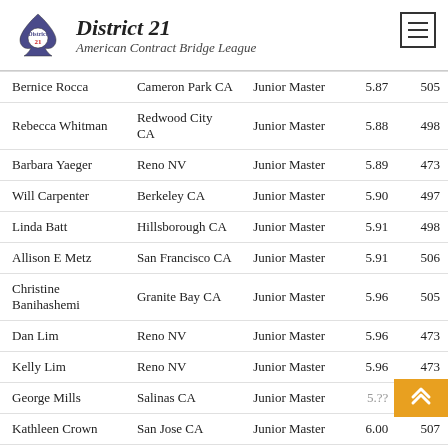District 21 American Contract Bridge League
| Name | City | Rank | Points | Number |
| --- | --- | --- | --- | --- |
| Bernice Rocca | Cameron Park CA | Junior Master | 5.87 | 505 |
| Rebecca Whitman | Redwood City CA | Junior Master | 5.88 | 498 |
| Barbara Yaeger | Reno NV | Junior Master | 5.89 | 473 |
| Will Carpenter | Berkeley CA | Junior Master | 5.90 | 497 |
| Linda Batt | Hillsborough CA | Junior Master | 5.91 | 498 |
| Allison E Metz | San Francisco CA | Junior Master | 5.91 | 506 |
| Christine Banihashemi | Granite Bay CA | Junior Master | 5.96 | 505 |
| Dan Lim | Reno NV | Junior Master | 5.96 | 473 |
| Kelly Lim | Reno NV | Junior Master | 5.96 | 473 |
| George Mills | Salinas CA | Junior Master | 5.?? | 530 |
| Kathleen Crown | San Jose CA | Junior Master | 6.00 | 507 |